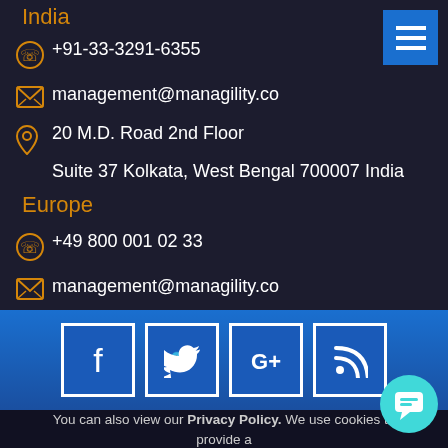India
+91-33-3291-6355
management@managility.co
20 M.D. Road 2nd Floor Suite 37 Kolkata, West Bengal 700007 India
Europe
+49 800 001 02 33
management@managility.co
Munich
[Figure (infographic): Social media icons: Facebook, Twitter, Google+, RSS feed on a blue gradient band]
You can also view our Privacy Policy. We use cookies to provide a personalised experience for our users.
I Agree